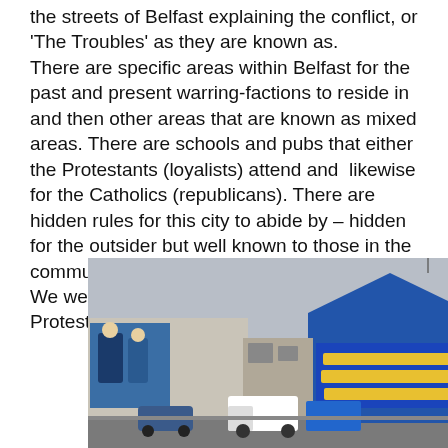the streets of Belfast explaining the conflict, or 'The Troubles' as they are known as.
There are specific areas within Belfast for the past and present warring-factions to reside in and then other areas that are known as mixed areas. There are schools and pubs that either the Protestants (loyalists) attend and likewise for the Catholics (republicans). There are hidden rules for this city to abide by – hidden for the outsider but well known to those in the community.
We were driven first into the Shankill area- the Protestant/ Unionist/ Loyalist area.
[Figure (photo): Street photograph of the Shankill area in Belfast showing buildings with loyalist murals painted on them. On the left is a mural with figures and on the right is a bright blue building with a large text mural. A white van and cars are visible in the foreground, under an overcast grey sky.]